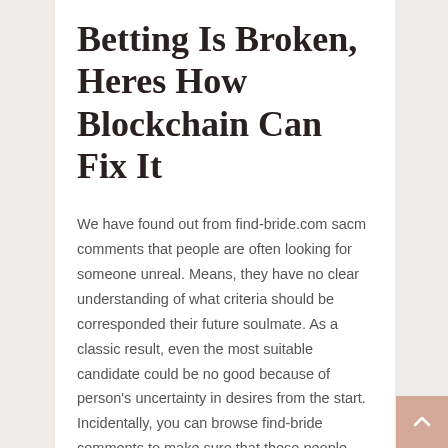Betting Is Broken, Heres How Blockchain Can Fix It
We have found out from find-bride.com sacm comments that people are often looking for someone unreal. Means, they have no clear understanding of what criteria should be corresponded their future soulmate. As a classic result, even the most suitable candidate could be no good because of person's uncertainty in desires from the start. Incidentally, you can browse find-bride comments to make sure that these people have eventually found their wives here. We